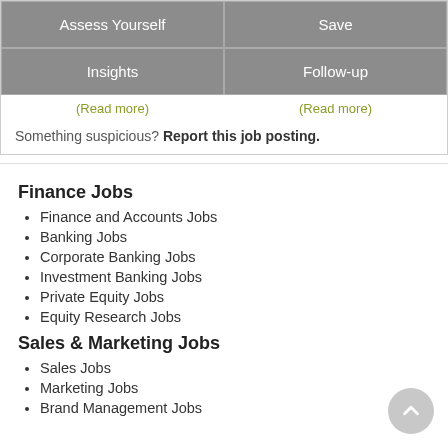Assess Yourself
Save
Insights
Follow-up
(Read more)
(Read more)
Something suspicious? Report this job posting.
Finance Jobs
Finance and Accounts Jobs
Banking Jobs
Corporate Banking Jobs
Investment Banking Jobs
Private Equity Jobs
Equity Research Jobs
Sales & Marketing Jobs
Sales Jobs
Marketing Jobs
Brand Management Jobs